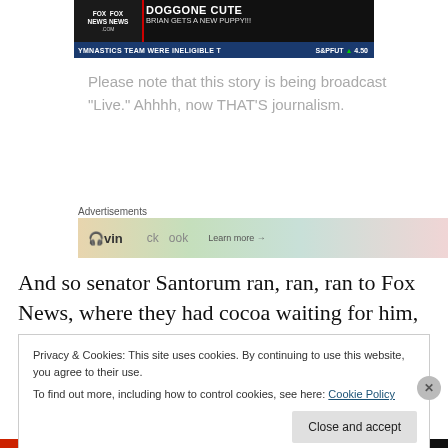[Figure (screenshot): Fox News TV screenshot showing 'DOGGONE CUTE - BRIAN GETS A NEW PUPPY!!!' headline with ticker 'YMNASTICS TEAM WERE INELIGIBLE T' and stock 'S&PFUT 4.50']
Please note that this story is being broadcast "Live." Ahhhh, now THAT'S journalism.
Advertisements
[Figure (screenshot): Advertisements banner with Audible/book imagery and 'learn more' link]
And so senator Santorum ran, ran, ran to Fox News, where they had cocoa waiting for him, with the little
Privacy & Cookies: This site uses cookies. By continuing to use this website, you agree to their use.
To find out more, including how to control cookies, see here: Cookie Policy

Close and accept